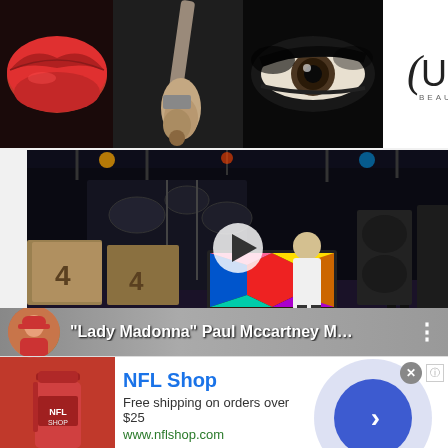[Figure (photo): ULTA Beauty advertisement banner with makeup imagery: red lips, makeup brush, smoky eye, ULTA logo, dark eye close-up, and SHOP NOW text]
[Figure (screenshot): Concert video screenshot showing two performers on stage with colorful psychedelic piano/keyboard, play button overlay in center]
[Figure (screenshot): YouTube video thumbnail row: avatar circle with person in red cap, video title 'Lady Madonna Paul Mccartney ME...' on blurred background, three-dot menu]
[Figure (screenshot): NFL Shop advertisement: red cup/tumbler product image, NFL Shop brand name in blue, 'Free shipping on orders over $25', 'www.nflshop.com', SHOP NOW button, circular blue arrow button on right]